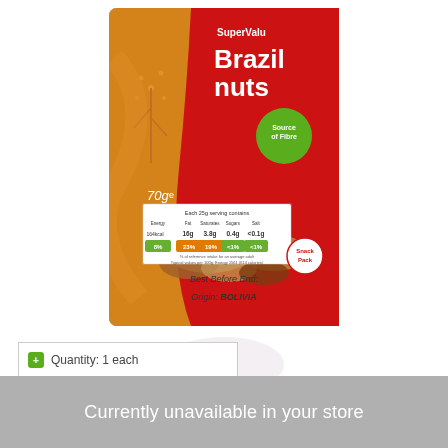[Figure (photo): SuperValu Brazil nuts snack pack product image. Red and gold packaging showing brazil nuts, 70g snack pack. Label includes nutrition information panel showing per 25g serving: Energy 164kcal 8%, Fat 16g 23%, Saturated fat 3.8g 19%, Sugars 0.4g <1%, Salt <0.1g <1%. Green circle badge reads 'Source of Fibre'. Text on package: Best Before End: [blank], Origin: BOLIVIA.]
[Figure (other): Faded circular watermark/logo in pale purple/grey tones, partially visible.]
Currently unavailable in your store